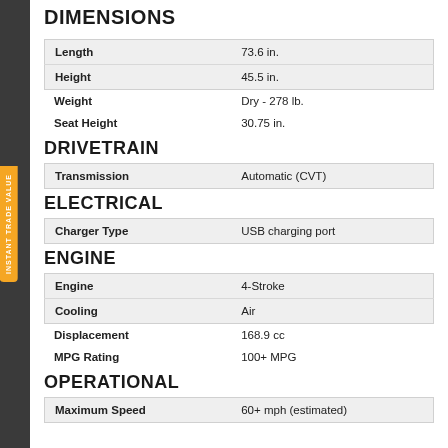DIMENSIONS
| Length | 73.6 in. |
| Height | 45.5 in. |
| Weight | Dry - 278 lb. |
| Seat Height | 30.75 in. |
DRIVETRAIN
| Transmission | Automatic (CVT) |
ELECTRICAL
| Charger Type | USB charging port |
ENGINE
| Engine | 4-Stroke |
| Cooling | Air |
| Displacement | 168.9 cc |
| MPG Rating | 100+ MPG |
OPERATIONAL
| Maximum Speed | 60+ mph (estimated) |